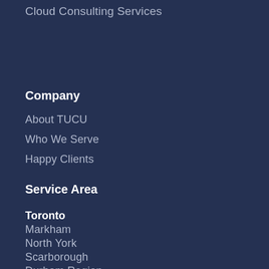Cloud Consulting Services
Company
About TUCU
Who We Serve
Happy Clients
Service Area
Toronto
Markham
North York
Scarborough
Durham Region